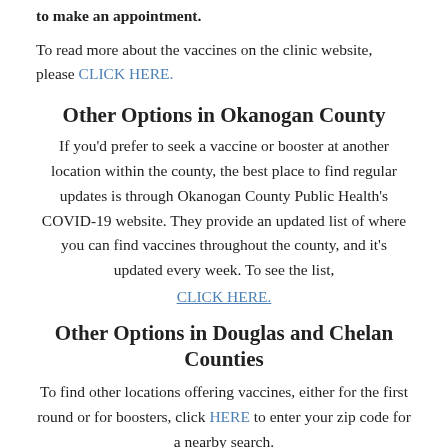to make an appointment.
To read more about the vaccines on the clinic website, please CLICK HERE.
Other Options in Okanogan County
If you'd prefer to seek a vaccine or booster at another location within the county, the best place to find regular updates is through Okanogan County Public Health's COVID-19 website. They provide an updated list of where you can find vaccines throughout the county, and it's updated every week. To see the list, CLICK HERE.
Other Options in Douglas and Chelan Counties
To find other locations offering vaccines, either for the first round or for boosters, click HERE to enter your zip code for a nearby search.